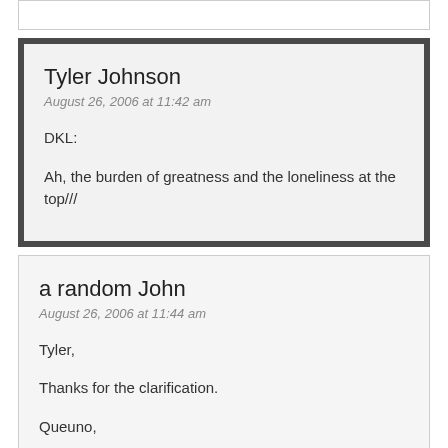Tyler Johnson
August 26, 2006 at 11:42 am
DKL:

Ah, the burden of greatness and the loneliness at the top///
a random John
August 26, 2006 at 11:44 am
Tyler,

Thanks for the clarification.

Queuno,

Whatever floats your boat, right? I'm sure that